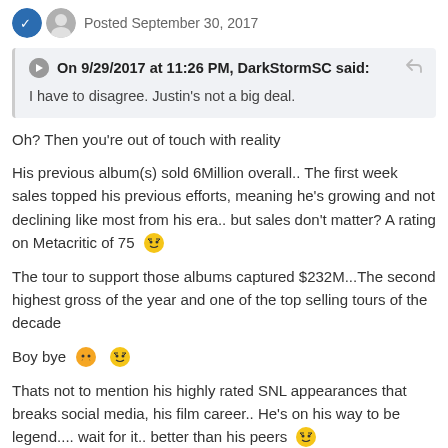Posted September 30, 2017
On 9/29/2017 at 11:26 PM, DarkStormSC said: I have to disagree. Justin's not a big deal.
Oh? Then you're out of touch with reality
His previous album(s) sold 6Million overall.. The first week sales topped his previous efforts, meaning he's growing and not declining like most from his era.. but sales don't matter? A rating on Metacritic of 75
The tour to support those albums captured $232M...The second highest gross of the year and one of the top selling tours of the decade
Boy bye
Thats not to mention his highly rated SNL appearances that breaks social media, his film career.. He's on his way to be legend.... wait for it.. better than his peers